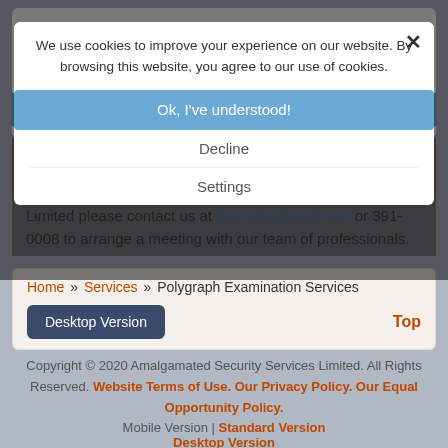High Employee Turnover & Training
Leaking of Confidential Information
Wasting of Company Stationary & Supplies
Vandalism
If you are interested in using the Polygraph Testing Services offered by Amalgamated Security Services Limited please contact us at forensics@assl.com or 391-0008 to arrange a meeting with our team of professionals.
[Figure (screenshot): Cookie consent overlay popup with OK, Decline, and Settings buttons over a darkened background]
Home » Services » Polygraph Examination Services
Desktop Version
Top
Copyright © 2020 Amalgamated Security Services Limited. All Rights Reserved. Website Terms of Use. Our Privacy Policy. Our Equal Opportunity Policy. Mobile Version | Standard Version Desktop Version